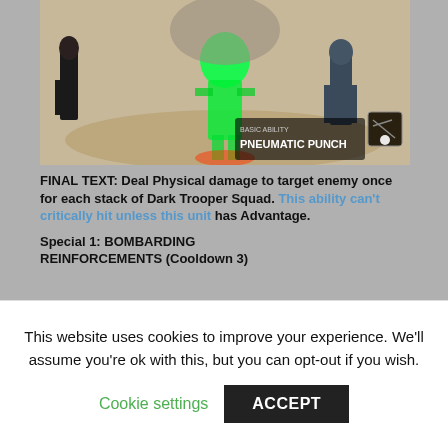[Figure (screenshot): Game screenshot showing characters in combat, with BASIC ABILITY PNEUMATIC PUNCH text and ability icon in the lower right.]
FINAL TEXT: Deal Physical damage to target enemy once for each stack of Dark Trooper Squad. This ability can't critically hit unless this unit has Advantage.
Special 1: BOMBARDING REINFORCEMENTS (Cooldown 3)
[Figure (screenshot): Game screenshot showing dark trooper equipment and desert landscape.]
This website uses cookies to improve your experience. We'll assume you're ok with this, but you can opt-out if you wish.
Cookie settings   ACCEPT